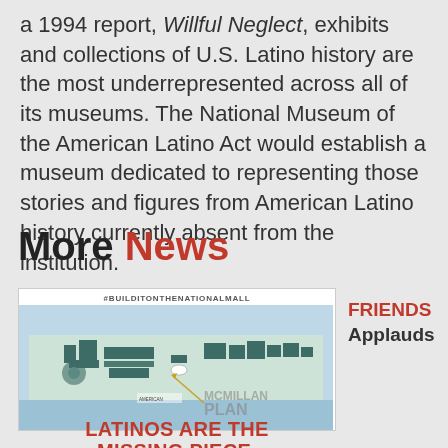a 1994 report, Willful Neglect, exhibits and collections of U.S. Latino history are the most underrepresented across all of its museums. The National Museum of the American Latino Act would establish a museum dedicated to representing those stories and figures from American Latino history currently absent from the institution.
More News
[Figure (map): Map showing the National Mall plan labeled McMillan Plan with a marker indicating American Latino Museum location. Hashtag #BUILDITONTHENATIONALMALL shown above map.]
LATINOS ARE THE MISSING PIECE.
FRIENDS Applauds